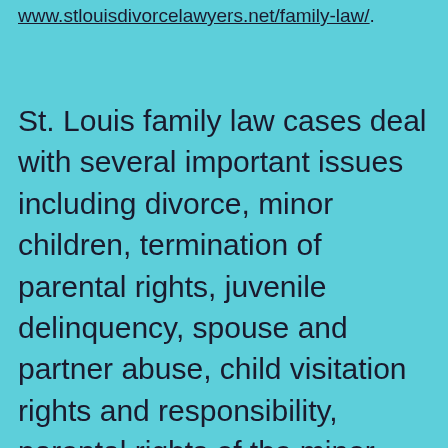www.stlouisdivorcelawyers.net/family-law/.
St. Louis family law cases deal with several important issues including divorce, minor children, termination of parental rights, juvenile delinquency, spouse and partner abuse, child visitation rights and responsibility, parental rights of the minor children, juvenile delinquency and education, death of a parent, guardian, or caregiver, property division, fraud and professional negligence. The legal representation is provided to clients free of cost unless otherwise agreed during the initial